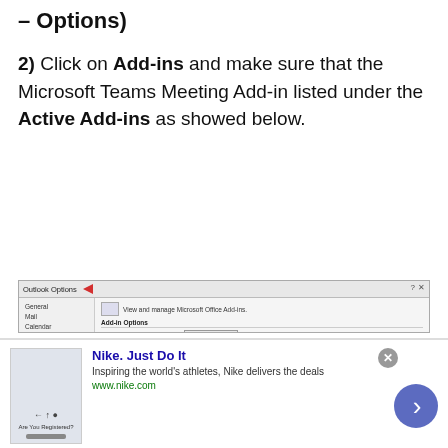– Options)
2) Click on Add-ins and make sure that the Microsoft Teams Meeting Add-in listed under the Active Add-ins as showed below.
[Figure (screenshot): Screenshot of Outlook Options dialog showing Add-ins panel with Active Application Add-ins list, Microsoft Teams Meeting Add-in highlighted in blue, with red arrows pointing to the title bar and the highlighted row.]
Nike. Just Do It — Inspiring the world's athletes, Nike delivers the deals. www.nike.com